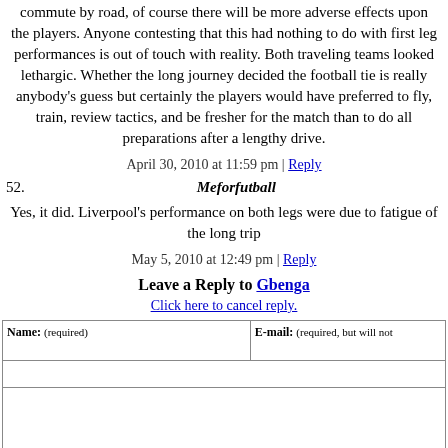commute by road, of course there will be more adverse effects upon the players. Anyone contesting that this had nothing to do with first leg performances is out of touch with reality. Both traveling teams looked lethargic. Whether the long journey decided the football tie is really anybody's guess but certainly the players would have preferred to fly, train, review tactics, and be fresher for the match than to do all preparations after a lengthy drive.
April 30, 2010 at 11:59 pm | Reply
52. Meforfutball
Yes, it did. Liverpool's performance on both legs were due to fatigue of the long trip
May 5, 2010 at 12:49 pm | Reply
Leave a Reply to Gbenga
Click here to cancel reply.
| Name: (required) | E-mail: (required, but will not) |
| --- | --- |
|  |  |